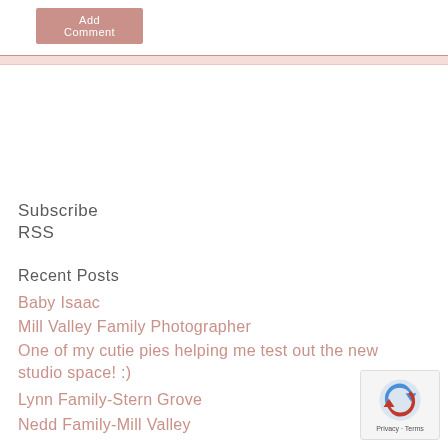Add Comment
Subscribe
RSS
Recent Posts
Baby Isaac
Mill Valley Family Photographer
One of my cutie pies helping me test out the new studio space! :)
Lynn Family-Stern Grove
Nedd Family-Mill Valley